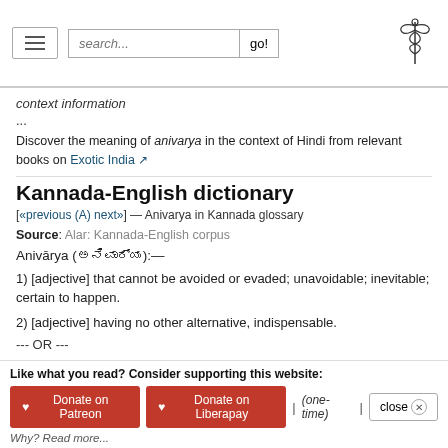search... go! [logo]
context information
...
Discover the meaning of anivarya in the context of Hindi from relevant books on Exotic India
Kannada-English dictionary
[«previous (A) next»] — Anivarya in Kannada glossary
Source: Alar: Kannada-English corpus
Anivārya (ಅನಿವಾರ್ಯ):—
1) [adjective] that cannot be avoided or evaded; unavoidable; inevitable; certain to happen.
2) [adjective] having no other alternative, indispensable.
--- OR ---
Like what you read? Consider supporting this website: ♥ Donate on Patreon ♥ Donate on Liberapay | (one-time) | close ⊗ Why? Read more...